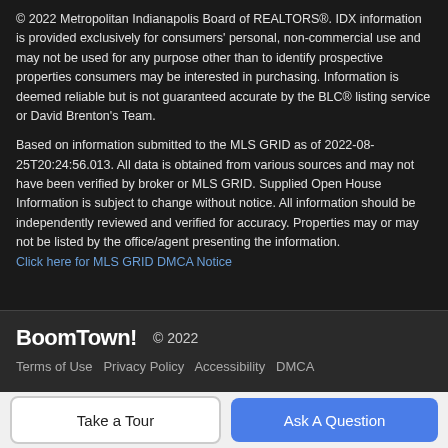© 2022 Metropolitan Indianapolis Board of REALTORS®. IDX information is provided exclusively for consumers' personal, non-commercial use and may not be used for any purpose other than to identify prospective properties consumers may be interested in purchasing. Information is deemed reliable but is not guaranteed accurate by the BLC® listing service or David Brenton's Team.
Based on information submitted to the MLS GRID as of 2022-08-25T20:24:56.013. All data is obtained from various sources and may not have been verified by broker or MLS GRID. Supplied Open House Information is subject to change without notice. All information should be independently reviewed and verified for accuracy. Properties may or may not be listed by the office/agent presenting the information.
Click here for MLS GRID DMCA Notice
BoomTown! © 2022
Terms of Use · Privacy Policy · Accessibility · DMCA
Take a Tour | Ask A Question